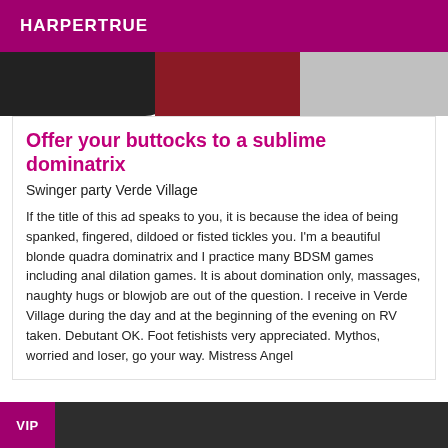HARPERTRUE
[Figure (photo): Partial photo showing dark and red/maroon areas at top of card]
Offer your buttocks to a sublime dominatrix
Swinger party Verde Village
If the title of this ad speaks to you, it is because the idea of being spanked, fingered, dildoed or fisted tickles you. I'm a beautiful blonde quadra dominatrix and I practice many BDSM games including anal dilation games. It is about domination only, massages, naughty hugs or blowjob are out of the question. I receive in Verde Village during the day and at the beginning of the evening on RV taken. Debutant OK. Foot fetishists very appreciated. Mythos, worried and loser, go your way. Mistress Angel
[Figure (photo): Bottom strip with VIP badge and dark background photo preview]